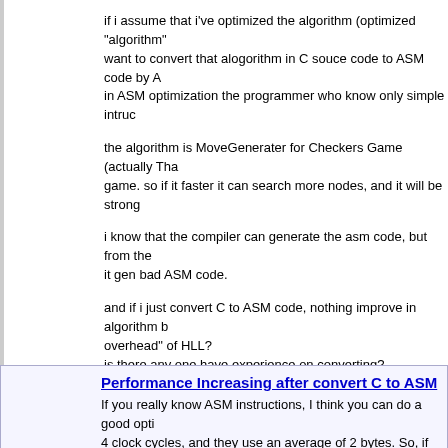if i assume that i've optimized the algorithm (optimized "algorithm" want to convert that alogorithm in C souce code to ASM code by A in ASM optimization the programmer who know only simple intruc
the algorithm is MoveGenerater for Checkers Game (actually Tha game. so if it faster it can search more nodes, and it will be strong
i know that the compiler can generate the asm code, but from the it gen bad ASM code.
and if i just convert C to ASM code, nothing improve in algorithm b overhead" of HLL?
is there any one have experience on converting?
may be i'm wrong but i just want to know the opinion and suggesti if nothing good and waste of the time to just convert C to ASM, it b go on continue my C code.
sorry for my bad english,
thank you very much,
Doby.
Posted on 2002-04-28 18:53:52 by doby
Performance Increasing after convert C to ASM
If you really know ASM instructions, I think you can do a good opti 4 clock cycles, and they use an average of 2 bytes. So, if you kno instructions you can make a good optimization if you really want it